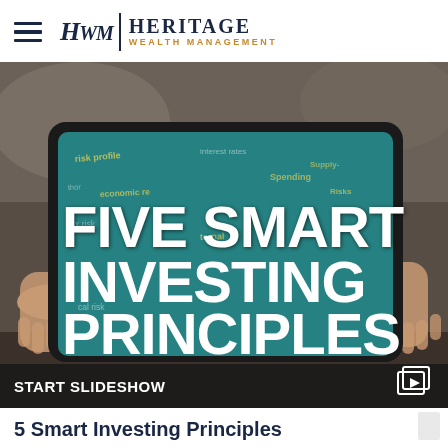[Figure (logo): Heritage Wealth Management logo with hamburger menu icon, HWM monogram, vertical divider, HERITAGE text and WEALTH MANAGEMENT subtitle in gold/navy]
[Figure (photo): Person holding a tablet displaying 'FIVE SMART INVESTING PRINCIPLES' in large white bold text over a teal background with overlaid financial risk-related words. A dark bar at bottom reads 'START SLIDESHOW' with a slideshow icon.]
5 Smart Investing Principles